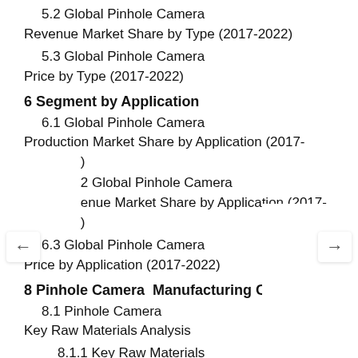5.2 Global Pinhole Camera Revenue Market Share by Type (2017-2022)
5.3 Global Pinhole Camera Price by Type (2017-2022)
6 Segment by Application
6.1 Global Pinhole Camera Production Market Share by Application (2017-)
2 Global Pinhole Camera enue Market Share by Application (2017-)
6.3 Global Pinhole Camera Price by Application (2017-2022)
8 Pinhole Camera  Manufacturing Cost Analysis
8.1 Pinhole Camera Key Raw Materials Analysis
8.1.1 Key Raw Materials
8.1.2 Key Suppliers of Raw Materials